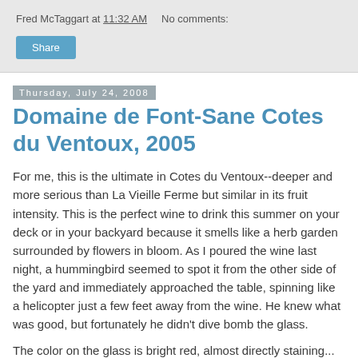Fred McTaggart at 11:32 AM   No comments:
Share
Thursday, July 24, 2008
Domaine de Font-Sane Cotes du Ventoux, 2005
For me, this is the ultimate in Cotes du Ventoux--deeper and more serious than La Vieille Ferme but similar in its fruit intensity. This is the perfect wine to drink this summer on your deck or in your backyard because it smells like a herb garden surrounded by flowers in bloom. As I poured the wine last night, a hummingbird seemed to spot it from the other side of the yard and immediately approached the table, spinning like a helicopter just a few feet away from the wine. He knew what was good, but fortunately he didn't dive bomb the glass.
The color on the glass is bright red, almost directly staining...